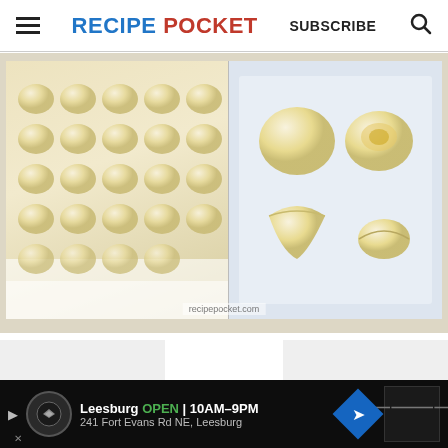RECIPE POCKET  SUBSCRIBE
[Figure (photo): Two-panel food photo: left panel shows many round raw dough balls arranged in rows on a white tray; right panel shows stages of folding a dough ball — flat round disc, disc with filling, partially folded, and fully formed dumpling — on a white surface. Watermark reads recipepocket.com]
[Figure (photo): Advertisement banner: Leesburg OPEN 10AM-9PM, 241 Fort Evans Rd NE, Leesburg]
Leesburg  OPEN | 10AM–9PM
241 Fort Evans Rd NE, Leesburg